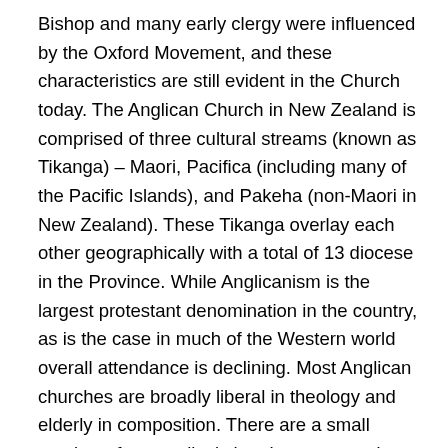Bishop and many early clergy were influenced by the Oxford Movement, and these characteristics are still evident in the Church today. The Anglican Church in New Zealand is comprised of three cultural streams (known as Tikanga) – Maori, Pacifica (including many of the Pacific Islands), and Pakeha (non-Maori in New Zealand). These Tikanga overlay each other geographically with a total of 13 diocese in the Province. While Anglicanism is the largest protestant denomination in the country, as is the case in much of the Western world overall attendance is declining. Most Anglican churches are broadly liberal in theology and elderly in composition. There are a small number of evangelical churches scattered throughout the country, many of whom exist within dioceses that are committed to a progressive liberal agenda.